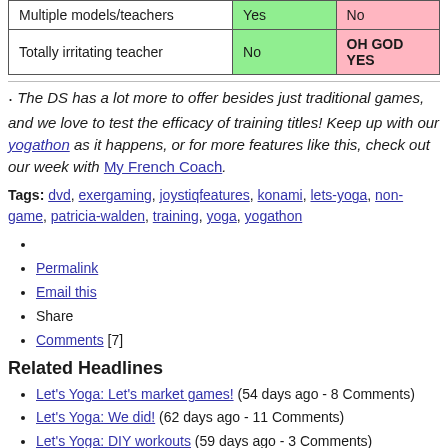|  |  |  |
| --- | --- | --- |
| Multiple models/teachers | Yes | No |
| Totally irritating teacher | No | OH GOD YES |
The DS has a lot more to offer besides just traditional games, and we love to test the efficacy of training titles! Keep up with our yogathon as it happens, or for more features like this, check out our week with My French Coach.
Tags: dvd, exergaming, joystiqfeatures, konami, lets-yoga, non-game, patricia-walden, training, yoga, yogathon
Permalink
Email this
Share
Comments [7]
Related Headlines
Let's Yoga: Let's market games! (54 days ago - 8 Comments)
Let's Yoga: We did! (62 days ago - 11 Comments)
Let's Yoga: DIY workouts (59 days ago - 3 Comments)
Let's Yoga: Tackling Krishna (58 days ago - 1 Comment)